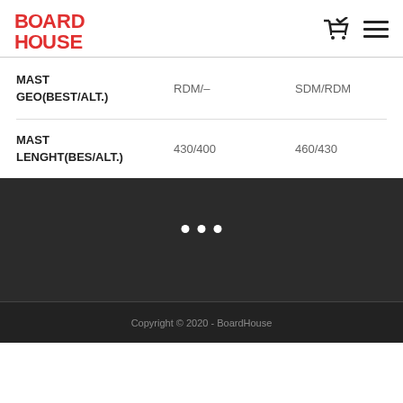BoardHouse logo, cart icon, menu icon
|  | RDM/– | SDM/RDM |
| --- | --- | --- |
| MAST GEO(BEST/ALT.) | RDM/– | SDM/RDM |
| MAST LENGHT(BES/ALT.) | 430/400 | 460/430 |
[Figure (logo): Facebook Messenger chat button (coral circle with lightning bolt)]
[Figure (other): Three white dots loading indicator on dark background]
Copyright © 2020 - BoardHouse